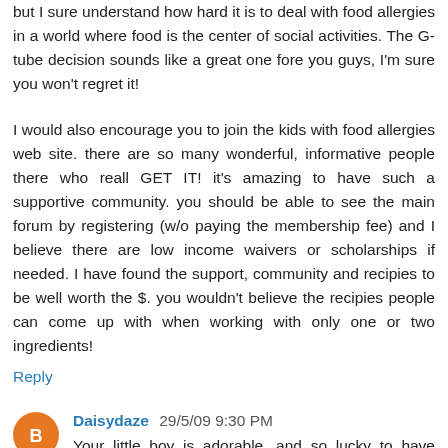but I sure understand how hard it is to deal with food allergies in a world where food is the center of social activities. The G-tube decision sounds like a great one fore you guys, I'm sure you won't regret it!
I would also encourage you to join the kids with food allergies web site. there are so many wonderful, informative people there who reall GET IT! it's amazing to have such a supportive community. you should be able to see the main forum by registering (w/o paying the membership fee) and I believe there are low income waivers or scholarships if needed. I have found the support, community and recipies to be well worth the $. you wouldn't believe the recipies people can come up with when working with only one or two ingredients!
Reply
Daisydaze 29/5/09 9:30 PM
Your little boy is adorable...and so lucky to have such a great Mom. My DD is grown; but, still deals with asthma, which has caused many a sleepless night for us all. People